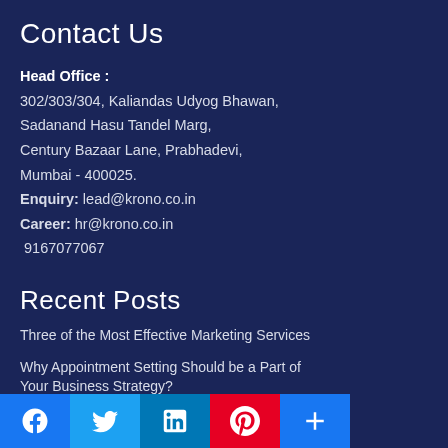Contact Us
Head Office :
302/303/304, Kaliandas Udyog Bhawan,
Sadanand Hasu Tandel Marg,
Century Bazaar Lane, Prabhadevi,
Mumbai - 400025.
Enquiry: lead@krono.co.in
Career: hr@krono.co.in
9167077067
Recent Posts
Three of the Most Effective Marketing Services
Why Appointment Setting Should be a Part of Your Business Strategy?
Telemarketing Tips – How To Become A
[Figure (other): Social media share buttons: Facebook, Twitter, LinkedIn, Pinterest, More (+)]